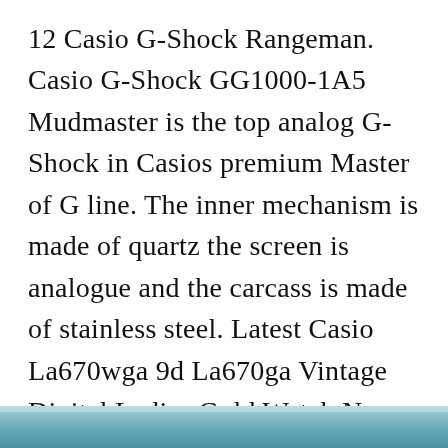12 Casio G-Shock Rangeman. Casio G-Shock GG1000-1A5 Mudmaster is the top analog G-Shock in Casios premium Master of G line. The inner mechanism is made of quartz the screen is analogue and the carcass is made of stainless steel. Latest Casio La670wga 9d La670ga Vintage Digital Ladies Gold Watch New Gold Watches Women Casio Gold Watch Casio Watch Women. Casio MRW200H-1BV Analog Dive Watch.
[Figure (photo): Partial view of a photograph at the bottom of the page, showing a blurred teal/blue background, likely a watch or product image.]